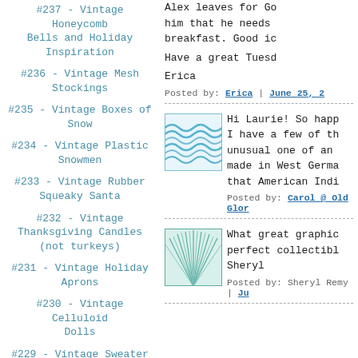#237 - Vintage Honeycomb Bells and Holiday Inspiration
#236 - Vintage Mesh Stockings
#235 - Vintage Boxes of Snow
#234 - Vintage Plastic Snowmen
#233 - Vintage Rubber Squeaky Santa
#232 - Vintage Thanksgiving Candles (not turkeys)
#231 - Vintage Holiday Aprons
#230 - Vintage Celluloid Dolls
#229 - Vintage Sweater
Alex leaves for Go... him that he needs... breakfast. Good ic...
Have a great Tuesd...
Erica
Posted by: Erica | June 25, 2...
[Figure (illustration): Small square thumbnail with blue wavy water-like pattern]
Hi Laurie! So happ... I have a few of th... unusual one of an... made in West Germa... that American Indi...
Posted by: Carol @ Old Glor...
[Figure (illustration): Small square thumbnail with teal starburst/fan pattern]
What great graphic... perfect collectibl... Sheryl
Posted by: Sheryl Remy | Ju...